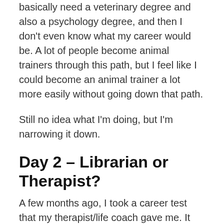basically need a veterinary degree and also a psychology degree, and then I don't even know what my career would be. A lot of people become animal trainers through this path, but I feel like I could become an animal trainer a lot more easily without going down that path.
Still no idea what I'm doing, but I'm narrowing it down.
Day 2 – Librarian or Therapist?
A few months ago, I took a career test that my therapist/life coach gave me. It analyzes your personality and gives you a Top 10 list of things you would be good at. I was frustrated because almost every career I got (musician, writer, photographer, etc) are basically freelance careers, and I don't want